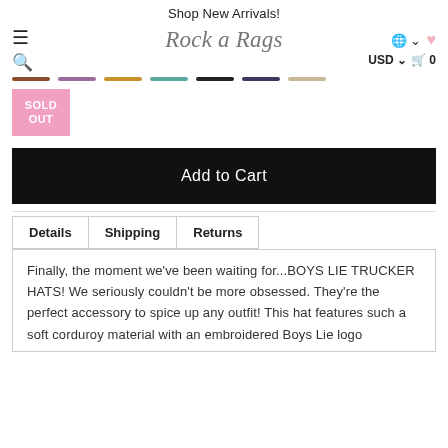Shop New Arrivals!
[Figure (logo): Rock a Rags script logo in center of navigation bar]
[Figure (infographic): Sold Out pink badge]
Add to Cart
Details  Shipping  Returns
Finally, the moment we've been waiting for...BOYS LIE TRUCKER HATS! We seriously couldn't be more obsessed. They're the perfect accessory to spice up any outfit! This hat features such a soft corduroy material with an embroidered Boys Lie logo